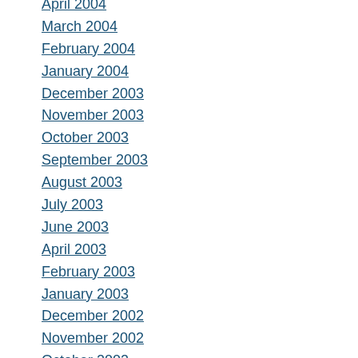April 2004
March 2004
February 2004
January 2004
December 2003
November 2003
October 2003
September 2003
August 2003
July 2003
June 2003
April 2003
February 2003
January 2003
December 2002
November 2002
October 2002
September 2002
August 2002